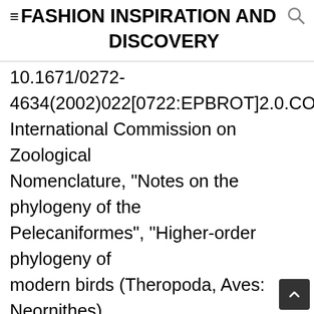≡ FASHION INSPIRATION AND DISCOVERY
10.1671/0272-4634(2002)022[0722:EPBROT]2.0.CO;2, International Commission on Zoological Nomenclature, "Notes on the phylogeny of the Pelecaniformes", "Higher-order phylogeny of modern birds (Theropoda, Aves: Neornithes) based on comparative anatomy. The first comprehensive overview of Maine's incredibly rich birdlife in more than seven decades, Birds of Maine is a detailed account of all 464 species recorded in the Pine Tree State. In that resp...